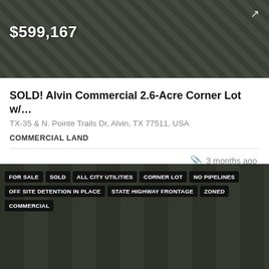[Figure (photo): Aerial satellite view of commercial land with price overlay showing $599,167]
SOLD! Alvin Commercial 2.6-Acre Corner Lot w/...
TX-35 & N. Pointe Trails Dr, Alvin, TX 77511, USA
COMMERCIAL LAND
3 months ago
[Figure (photo): Aerial satellite view of the commercial corner lot with tags: FOR SALE, SOLD, ALL CITY UTILITIES, CORNER LOT, NO PIPELINES, OFF SITE DETENTION IN PLACE, STATE HIGHWAY FRONTAGE, ZONED, COMMERCIAL]